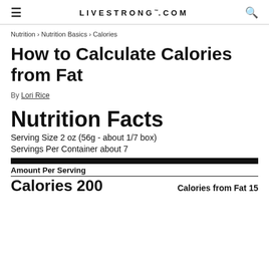LIVESTRONG.COM
Nutrition › Nutrition Basics › Calories
How to Calculate Calories from Fat
By Lori Rice
[Figure (infographic): Nutrition Facts label showing: Serving Size 2 oz (56g - about 1/7 box), Servings Per Container about 7, Amount Per Serving, Calories 200, Calories from Fat 15]